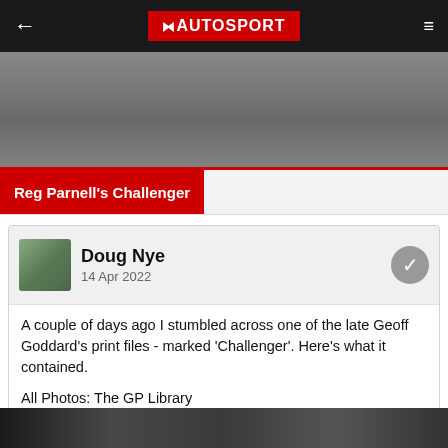← AUTOSPORT ≡
[Figure (photo): Gray banner image area at top of page]
Reg Parnell's Challenger
Doug Nye
14 Apr 2022
A couple of days ago I stumbled across one of the late Geoff Goddard's print files - marked 'Challenger'.  Here's what it contained.
All Photos: The GP Library
Presumably 1938-39 in Reg Parnell's Derbyshire workshop - his 'Challenge' (as then entitled) putative GP car under construction.  Note coil-spring front suspension...
[Figure (photo): Black and white photograph at bottom of page showing car construction]